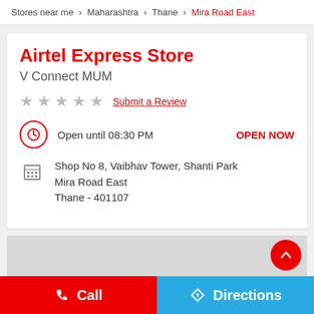Stores near me > Maharashtra > Thane > Mira Road East
Airtel Express Store
V Connect MUM
★ ★ ★ ★ ★  Submit a Review
Open until 08:30 PM   OPEN NOW
Shop No 8, Vaibhav Tower, Shanti Park
Mira Road East
Thane - 401107
[Figure (map): Map area placeholder (gray)]
Call   Directions